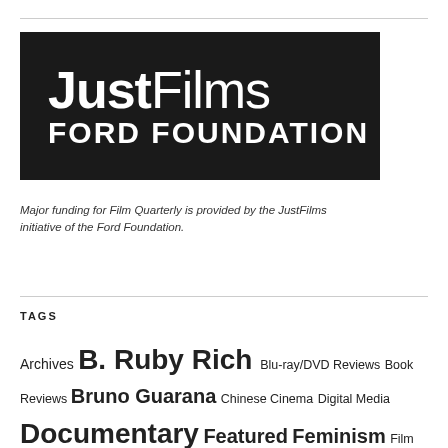[Figure (logo): JustFilms Ford Foundation logo — white text on black background. 'Just' in bold, 'Films' in light weight, and 'FORD FOUNDATION' in bold uppercase below.]
Major funding for Film Quarterly is provided by the JustFilms initiative of the Ford Foundation.
TAGS
Archives B. Ruby Rich Blu-ray/DVD Reviews Book Reviews Bruno Guarana Chinese Cinema Digital Media Documentary Featured Feminism Film Criticism Film Festivals Film Reviews French